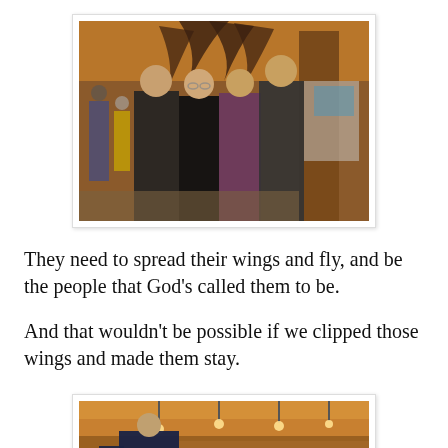[Figure (photo): Four people standing together indoors under large elk antlers mounted above, with wooden columns and a warm-lit interior space in background.]
They need to spread their wings and fly, and be the people that God's called them to be.
And that wouldn't be possible if we clipped those wings and made them stay.
[Figure (photo): A person viewed from behind standing in a warmly lit indoor space with wooden ceiling and hanging lights.]